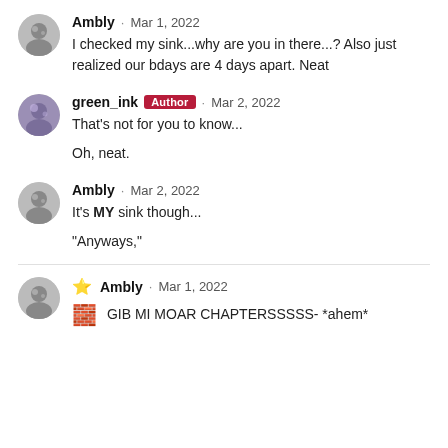Ambly · Mar 1, 2022
I checked my sink...why are you in there...? Also just realized our bdays are 4 days apart. Neat
green_ink · Author · Mar 2, 2022
That's not for you to know...

Oh, neat.
Ambly · Mar 2, 2022
It's MY sink though...

"Anyways,"
⭐ Ambly · Mar 1, 2022
🧱 GIB MI MOAR CHAPTERSSSSS- *ahem*